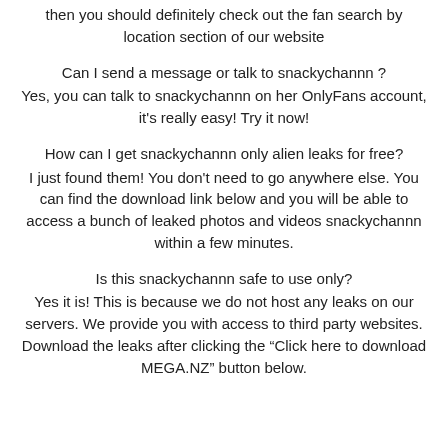then you should definitely check out the fan search by location section of our website
Can I send a message or talk to snackychannn ?
Yes, you can talk to snackychannn on her OnlyFans account, it's really easy! Try it now!
How can I get snackychannn only alien leaks for free?
I just found them! You don't need to go anywhere else. You can find the download link below and you will be able to access a bunch of leaked photos and videos snackychannn within a few minutes.
Is this snackychannn safe to use only?
Yes it is! This is because we do not host any leaks on our servers. We provide you with access to third party websites. Download the leaks after clicking the “Click here to download MEGA.NZ” button below.